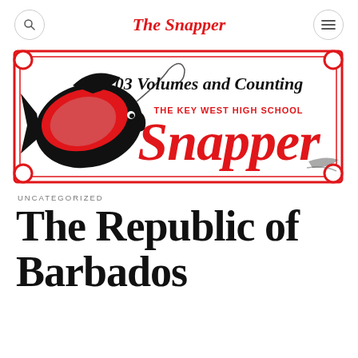The Snapper
[Figure (logo): The Key West High School Snapper newspaper banner logo with a red snapper fish illustration and text '103 Volumes and Counting' and 'Snapper' in red script, surrounded by a red decorative border.]
UNCATEGORIZED
The Republic of Barbados